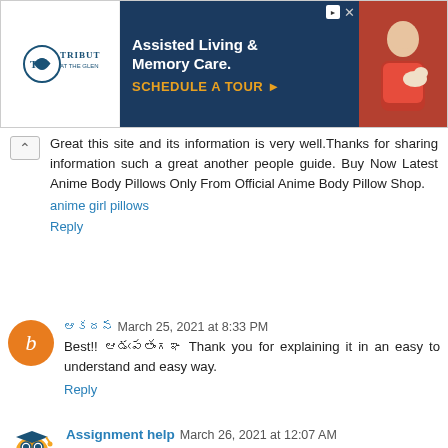[Figure (screenshot): Advertisement banner for Tribute at the Glen - Assisted Living & Memory Care with a Schedule a Tour call to action]
Great this site and its information is very well.Thanks for sharing information such a great another people guide. Buy Now Latest Anime Body Pillows Only From Official Anime Body Pillow Shop.
anime girl pillows
Reply
ఆనంద March 25, 2021 at 8:33 PM
Best!! అద్భుతంగా Thank you for explaining it in an easy to understand and easy way.
Reply
Assignment help March 26, 2021 at 12:07 AM
The assignment problem is a fundamental combinatorial optimization problem where the objective is to assign...